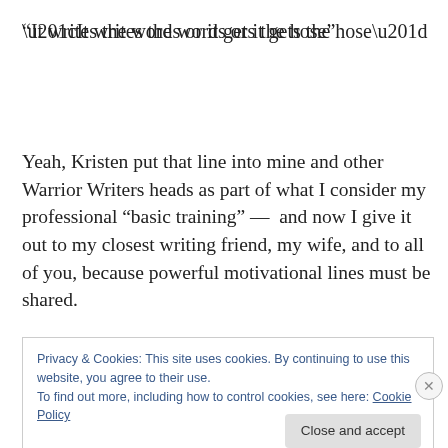“It writes the words or it gets the hose”
Yeah, Kristen put that line into mine and other Warrior Writers heads as part of what I consider my professional “basic training” — and now I give it out to my closest writing friend, my wife, and to all of you, because powerful motivational lines must be shared.
Privacy & Cookies: This site uses cookies. By continuing to use this website, you agree to their use.
To find out more, including how to control cookies, see here: Cookie Policy